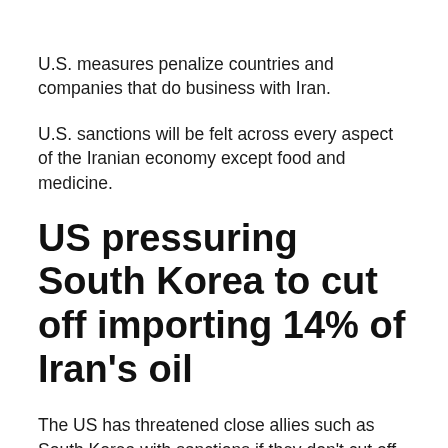U.S. measures penalize countries and companies that do business with Iran.
U.S. sanctions will be felt across every aspect of the Iranian economy except food and medicine.
US pressuring South Korea to cut off importing 14% of Iran's oil
The US has threatened close allies such as South Korea with sanctions if they don't cut off Iranian imports by early November. South Korea accounted for 14 percent of Iran's oil